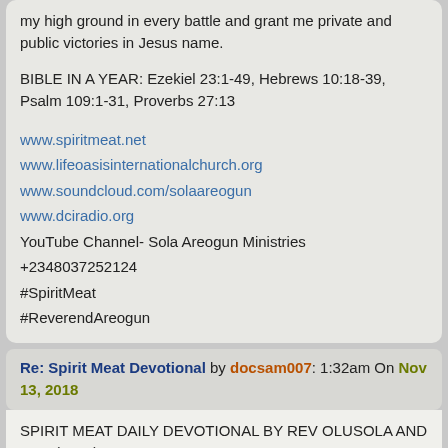my high ground in every battle and grant me private and public victories in Jesus name.
BIBLE IN A YEAR: Ezekiel 23:1-49, Hebrews 10:18-39, Psalm 109:1-31, Proverbs 27:13
www.spiritmeat.net
www.lifeoasisinternationalchurch.org
www.soundcloud.com/solaareogun
www.dciradio.org
YouTube Channel- Sola Areogun Ministries
+2348037252124
#SpiritMeat
#ReverendAreogun
Re: Spirit Meat Devotional by docsam007: 1:32am On Nov 13, 2018
SPIRIT MEAT DAILY DEVOTIONAL BY REV OLUSOLA AND REV (MRS) OYENIKE AREOGUN
TUESDAY, 13TH NOVEMBER, 2018